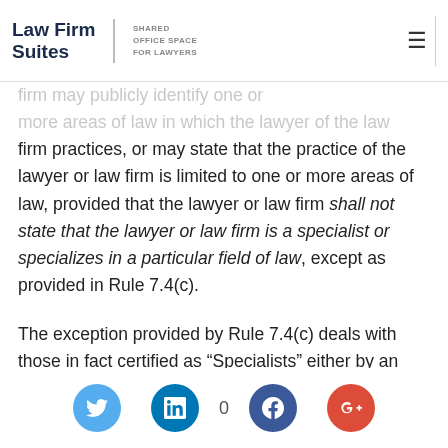Law Firm Suites | SHARED OFFICE SPACE FOR LAWYERS
firm may publicly identify one or more areas of law in which the lawyer of the law firm practices, or may state that the practice of the lawyer or law firm is limited to one or more areas of law, provided that the lawyer or law firm shall not state that the lawyer or law firm is a specialist or specializes in a particular field of law, except as provided in Rule 7.4(c).
The exception provided by Rule 7.4(c) deals with those in fact certified as “Specialists” either by an American Bar Association-approved certifying authority or by an authority with the power to certify